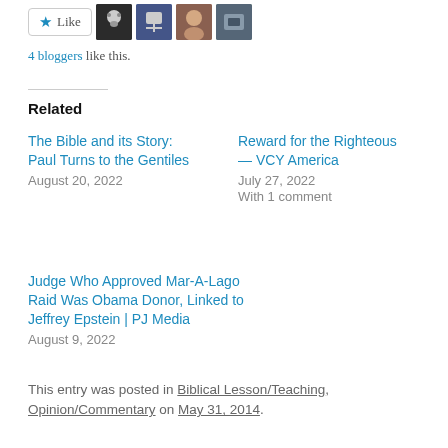[Figure (other): Like button with star icon and 4 blogger avatars]
4 bloggers like this.
Related
The Bible and its Story: Paul Turns to the Gentiles
August 20, 2022
Reward for the Righteous — VCY America
July 27, 2022
With 1 comment
Judge Who Approved Mar-A-Lago Raid Was Obama Donor, Linked to Jeffrey Epstein | PJ Media
August 9, 2022
This entry was posted in Biblical Lesson/Teaching, Opinion/Commentary on May 31, 2014.